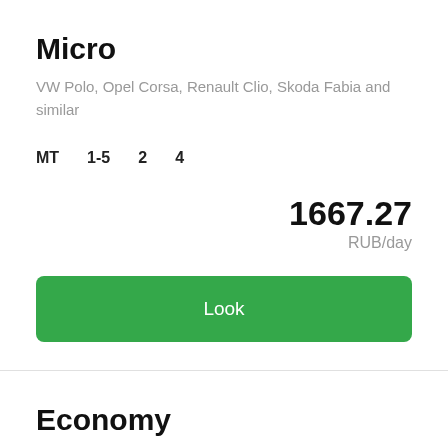Micro
VW Polo, Opel Corsa, Renault Clio, Skoda Fabia and similar
MT  1-5  2  4
1667.27
RUB/day
Look
Economy
Hyundai Solaris, Ford Focus, Chevrolet Aveo, Nissan